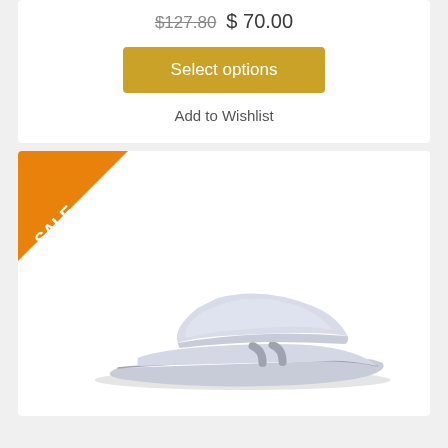$127.80  $70.00
Select options
Add to Wishlist
[Figure (photo): White slide sandal shoe product image with a SALE ribbon badge in the top-left corner]